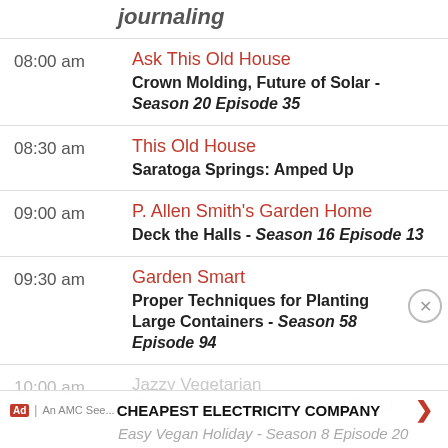journaling (partial, top of page)
08:00 am — Ask This Old House — Crown Molding, Future of Solar - Season 20 Episode 35
08:30 am — This Old House — Saratoga Springs: Amped Up
09:00 am — P. Allen Smith's Garden Home — Deck the Halls - Season 16 Episode 13
09:30 am — Garden Smart — Proper Techniques for Planting Large Containers - Season 58 Episode 94
10:00 am — Jazzy Vegetarian — Easy Vegan Holiday - Season 8 Episode 20
Ad | An AMC See... CHEAPEST ELECTRICITY COMPANY